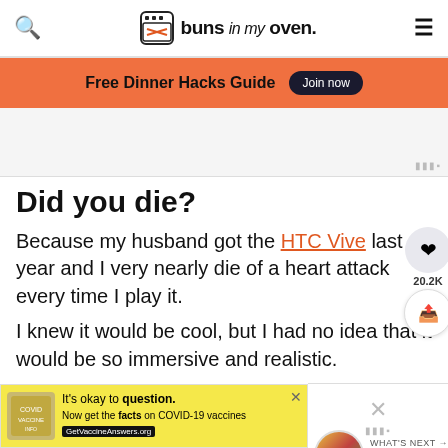buns in my oven
Free Dinner Hacks Guide   Join now
[Figure (other): Advertisement placeholder area]
Did you die?
Because my husband got the HTC Vive last year and I very nearly die of a heart attack every time I play it.
I knew it would be cool, but I had no idea that it would be so immersive and realistic.
It is literally like stepping into another world. I've ne
[Figure (other): COVID-19 vaccine information advertisement banner: It's okay to question. Now get the facts on COVID-19 vaccines. GetVaccineAnswers.org]